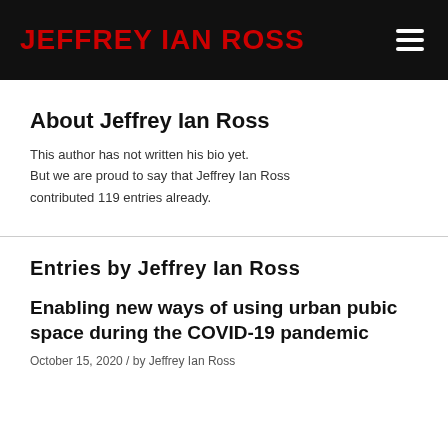JEFFREY IAN ROSS
About Jeffrey Ian Ross
This author has not written his bio yet. But we are proud to say that Jeffrey Ian Ross contributed 119 entries already.
Entries by Jeffrey Ian Ross
Enabling new ways of using urban pubic space during the COVID-19 pandemic
October 15, 2020 / by Jeffrey Ian Ross